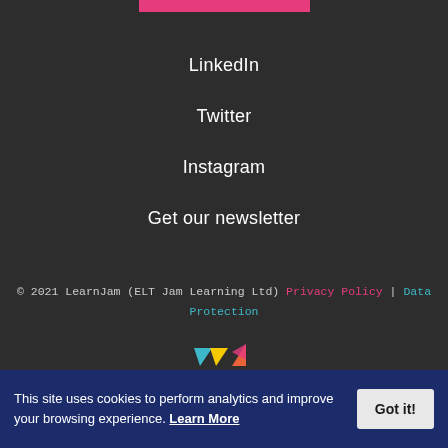LinkedIn
Twitter
Instagram
Get our newsletter
© 2021 LearnJam (ELT Jam Learning Ltd) Privacy Policy | Data Protection
[Figure (logo): LearnJam logo with colorful triangular shapes in cyan, yellow, and pink/orange]
This site uses cookies to perform analytics and improve your browsing experience. Learn More Got it!